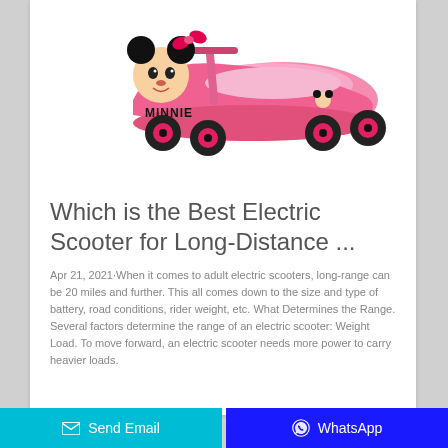[Figure (photo): Pink Minnie Mouse ride-on toy car with wheels, Minnie Mouse face decoration on front, pink color with Minnie branding on the side]
Which is the Best Electric Scooter for Long-Distance ...
Apr 21, 2021·When it comes to adult electric scooters, long-range can be 20 miles and further. This all comes down to the size and type of battery, road conditions, rider weight, etc. What Determines the Range. Several factors determine the range of an electric scooter: Weight Load. To move forward, an electric scooter needs more power to carry heavier loads.
Send Email | WhatsApp